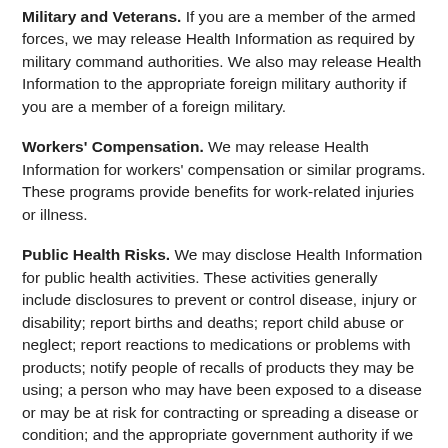Military and Veterans. If you are a member of the armed forces, we may release Health Information as required by military command authorities. We also may release Health Information to the appropriate foreign military authority if you are a member of a foreign military.
Workers' Compensation. We may release Health Information for workers' compensation or similar programs. These programs provide benefits for work-related injuries or illness.
Public Health Risks. We may disclose Health Information for public health activities. These activities generally include disclosures to prevent or control disease, injury or disability; report births and deaths; report child abuse or neglect; report reactions to medications or problems with products; notify people of recalls of products they may be using; a person who may have been exposed to a disease or may be at risk for contracting or spreading a disease or condition; and the appropriate government authority if we believe a patient has been the victim of abuse, neglect or domestic violence. We will only make this